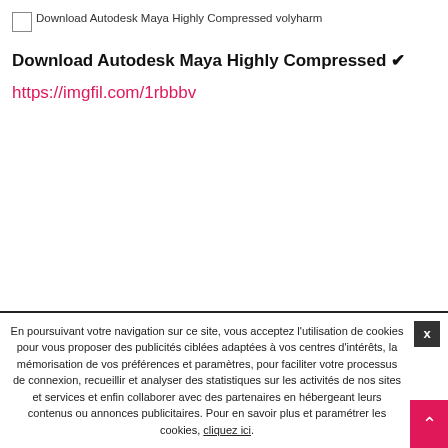[Figure (other): Broken image placeholder with alt text: Download Autodesk Maya Highly Compressed volyharm]
Download Autodesk Maya Highly Compressed ✔
https://imgfil.com/1rbbbv
En poursuivant votre navigation sur ce site, vous acceptez l'utilisation de cookies pour vous proposer des publicités ciblées adaptées à vos centres d'intérêts, la mémorisation de vos préférences et paramètres, pour faciliter votre processus de connexion, recueillir et analyser des statistiques sur les activités de nos sites et services et enfin collaborer avec des partenaires en hébergeant leurs contenus ou annonces publicitaires. Pour en savoir plus et paramétrer les cookies, cliquez ici.